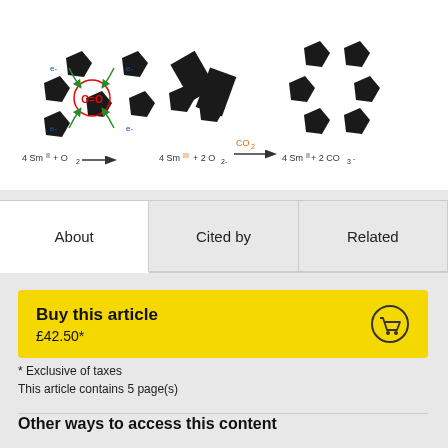[Figure (schematic): Chemical reaction diagram showing Sm(II) reacting with O2 to give Sm(III) and O2^2-, then reacting with CO2 to give Sm(II) and CO3^2-. Three panels: first shows 4 Sm(II) + O2 arrow to 4 Sm(III) + 2 O^2-, second shows another representation, third shows 4 Sm(II) + 2 CO3^2- with CO2 arrow above.]
About
Cited by
Related
Buy this article
£42.50*
* Exclusive of taxes
This article contains 5 page(s)
Other ways to access this content